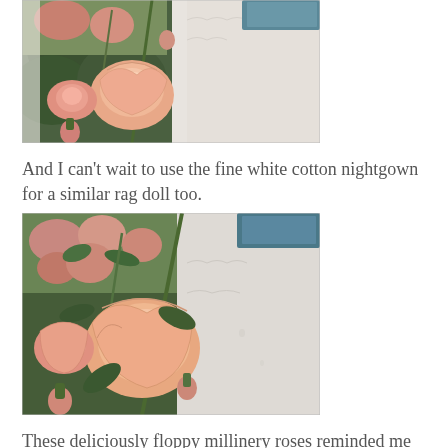[Figure (photo): Photo of peach/pink millinery roses with green leaves arranged on white cotton fabric with lace trim and a painterly postcard in the background]
And I can't wait to use the fine white cotton nightgown for a similar rag doll too.
[Figure (photo): Second photo of the same peach/pink floppy millinery roses with green leaves laid on a white fabric surface with a painterly postcard of roses visible in the background]
These deliciously floppy millinery roses reminded me of the old painterly postcards that I love to collect. I've displayed